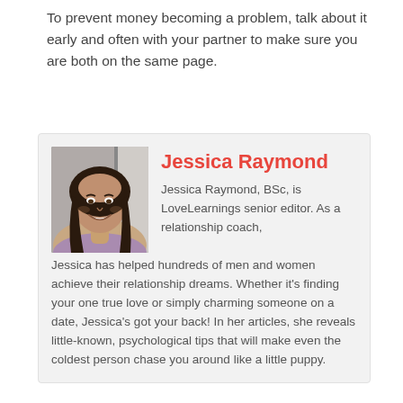To prevent money becoming a problem, talk about it early and often with your partner to make sure you are both on the same page.
[Figure (photo): Portrait photo of Jessica Raymond, a woman with long dark hair, smiling, wearing a light purple top.]
Jessica Raymond
Jessica Raymond, BSc, is LoveLearnings senior editor. As a relationship coach, Jessica has helped hundreds of men and women achieve their relationship dreams. Whether it's finding your one true love or simply charming someone on a date, Jessica's got your back! In her articles, she reveals little-known, psychological tips that will make even the coldest person chase you around like a little puppy.